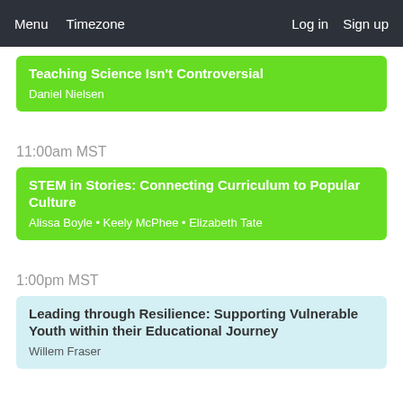Menu  Timezone  Log in  Sign up
Teaching Science Isn't Controversial
Daniel Nielsen
11:00am MST
STEM in Stories: Connecting Curriculum to Popular Culture
Alissa Boyle • Keely McPhee • Elizabeth Tate
1:00pm MST
Leading through Resilience: Supporting Vulnerable Youth within their Educational Journey
Willem Fraser